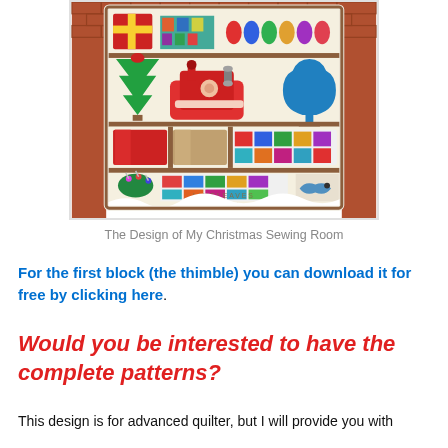[Figure (illustration): A colorful illustration of a Christmas sewing room shop window display set in a brick wall, featuring shelves with sewing items: a red sewing machine, a blue dress form mannequin, a green Christmas tree, fabric bolts, pincushion, colorful quilt blocks, and snow at the bottom. The LimeLeaves Design logo/watermark is visible.]
The Design of My Christmas Sewing Room
For the first block (the thimble) you can download it for free by clicking here.
Would you be interested to have the complete patterns?
This design is for advanced quilter, but I will provide you with